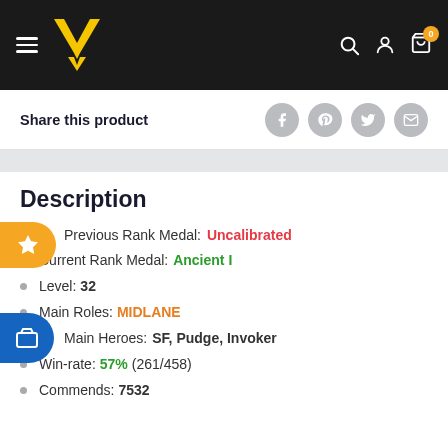[Figure (screenshot): Navigation bar with hamburger menu, yellow V-shaped logo, search icon, account icon, and cart icon with badge showing 0]
Share this product
[Figure (illustration): Social share icons: Facebook, Pinterest, Twitter, Email]
Description
Previous Rank Medal: Uncalibrated
Current Rank Medal: Ancient I
Level: 32
Main Roles: MIDLANE
Main Heroes: SF, Pudge, Invoker
Win-rate: 57% (261/458)
Commends: 7532